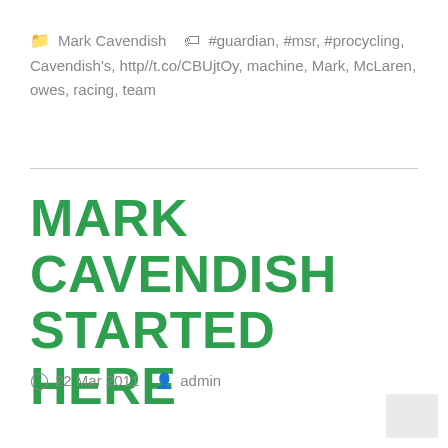Mark Cavendish  #guardian, #msr, #procycling, Cavendish's, http//t.co/CBUjtOy, machine, Mark, McLaren, owes, racing, team
MARK CAVENDISH STARTED HERE
22 Mar 2011  admin